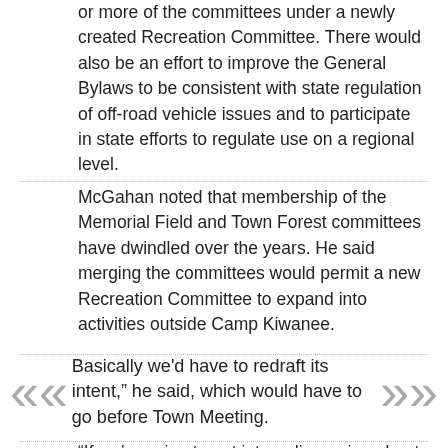or more of the committees under a newly created Recreation Committee. There would also be an effort to improve the General Bylaws to be consistent with state regulation of off-road vehicle issues and to participate in state efforts to regulate use on a regional level.
McGahan noted that membership of the Memorial Field and Town Forest committees have dwindled over the years. He said merging the committees would permit a new Recreation Committee to expand into activities outside Camp Kiwanee.
“Basically we’d have to redraft its intent,” he said, which would have to go before Town Meeting.
“If we’re going to get into a discussion about this, I tend to agree with you that you would want the possibility — like other towns do it — where the Recreation Committee would take care of town-wide [events],” said Recreation Committee Chairman James Hickey. “But I also think that, if this was to go through, the Recreation Committee now as it stands would have to have [its] name changed to the Camp Kiwanee Commission, where it would strictly deal with Camp